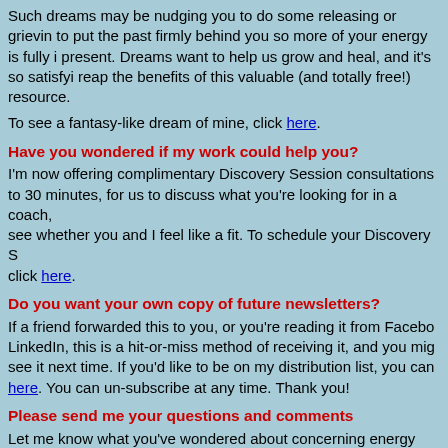Such dreams may be nudging you to do some releasing or grieving, to put the past firmly behind you so more of your energy is fully in present. Dreams want to help us grow and heal, and it's so satisfyin reap the benefits of this valuable (and totally free!) resource.
To see a fantasy-like dream of mine, click here.
Have you wondered if my work could help you?
I'm now offering complimentary Discovery Session consultations o to 30 minutes, for us to discuss what you're looking for in a coach, see whether you and I feel like a fit. To schedule your Discovery S click here.
Do you want your own copy of future newsletters?
If a friend forwarded this to you, or you're reading it from Facebo LinkedIn, this is a hit-or-miss method of receiving it, and you mig see it next time. If you'd like to be on my distribution list, you can here. You can un-subscribe at any time. Thank you!
Please send me your questions and comments
Let me know what you've wondered about concerning energy med or vision or dreams. I'll be glad to write a short article addressing t topic. Thank you to those who have sent me questions, or see a qu you asked me in a private session written about here. You're helpin many other people! Enjoy the start of your March. I'll write again i couple of weeks. Take care!